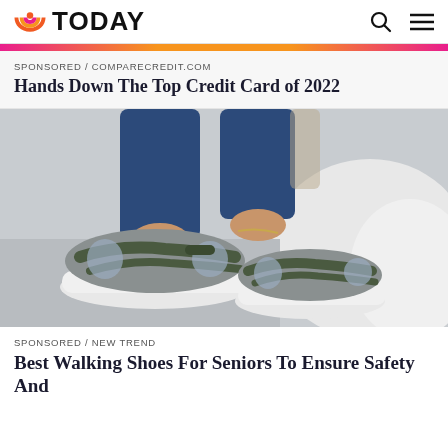TODAY
SPONSORED / COMPARECREDIT.COM
Hands Down The Top Credit Card of 2022
[Figure (photo): Close-up photo of a woman's feet wearing gray and dark olive Mary-Jane style walking shoes/sneakers with white soles, wearing jeans, seated on a light surface with a fluffy white rug in the background.]
SPONSORED / NEW TREND
Best Walking Shoes For Seniors To Ensure Safety And